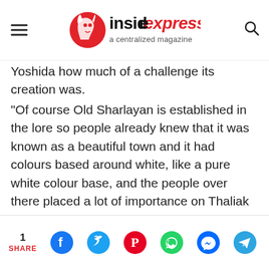Inside Express — a centralized magazine
Yoshida how much of a challenge its creation was.
"Of course Old Sharlayan is established in the lore so people already knew that it was known as a beautiful town and it had colours based around white, like a pure white colour base, and the people over there placed a lot of importance on Thaliak the Scholar, and also their famous symbol," Yoshida said. "So a lot of the elements that were established in the lore already, we knew players would have expectations for that and in that respect it was difficult for us to create this city, keeping those expectations and what the players already knew in mind."
1 SHARE — social share icons: Facebook, Twitter, Pinterest, WhatsApp, Messenger, Telegram